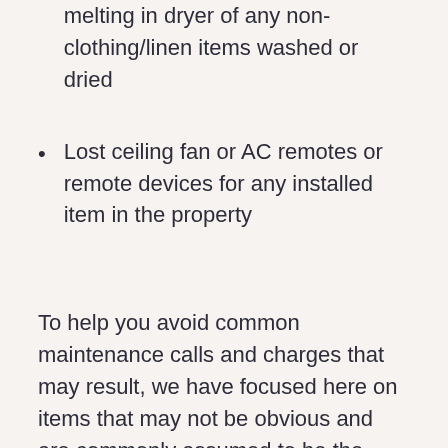melting in dryer of any non-clothing/linen items washed or dried
Lost ceiling fan or AC remotes or remote devices for any installed item in the property
To help you avoid common maintenance calls and charges that may result, we have focused here on items that may not be obvious and are commonly assumed to be the landlord’s responsibility but are not, at least under the circumstances listed. However, if a resident or their guest causes any repair to be necessary by misuse of any part of the home, tenant